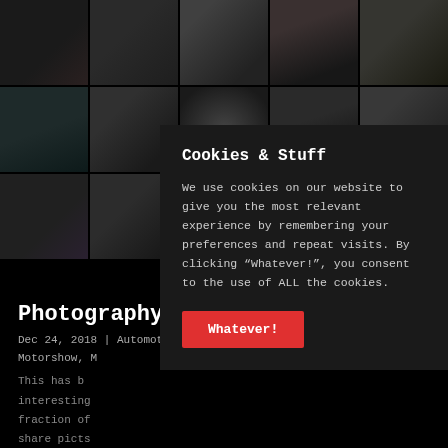[Figure (photo): Grid of automotive/car photography images arranged in a mosaic layout, all dark-toned photos of sports cars and supercars]
Photography Summary of 2018
Dec 24, 2018 | Automotive, Car, Commercial, Editorial, Motorshow, M...
This has b... interesting... fraction of... share pict... working o... writing th... read more
Cookies & Stuff
We use cookies on our website to give you the most relevant experience by remembering your preferences and repeat visits. By clicking "Whatever!", you consent to the use of ALL the cookies.
Whatever!